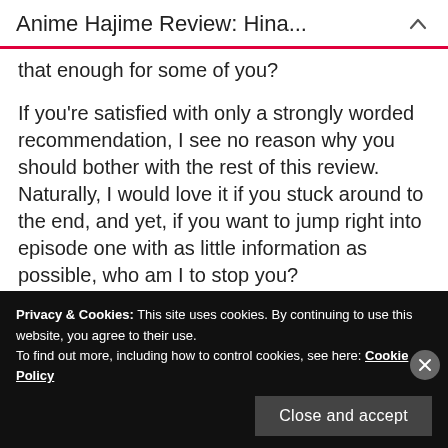Anime Hajime Review: Hina...
that enough for some of you?
If you're satisfied with only a strongly worded recommendation, I see no reason why you should bother with the rest of this review. Naturally, I would love it if you stuck around to the end, and yet, if you want to jump right into episode one with as little information as possible, who am I to stop you?
Privacy & Cookies: This site uses cookies. By continuing to use this website, you agree to their use.
To find out more, including how to control cookies, see here: Cookie Policy
Close and accept